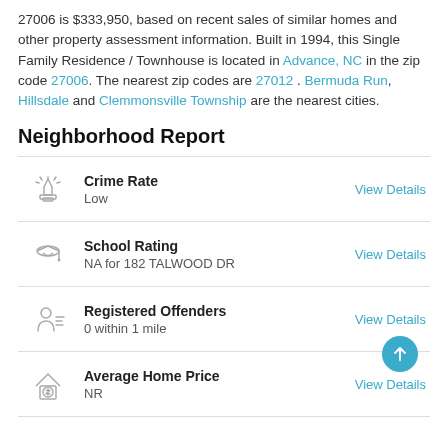27006 is $333,950, based on recent sales of similar homes and other property assessment information. Built in 1994, this Single Family Residence / Townhouse is located in Advance, NC in the zip code 27006. The nearest zip codes are 27012. Bermuda Run, Hillsdale and Clemmonsville Township are the nearest cities.
Neighborhood Report
Crime Rate - Low - View Details
School Rating - NA for 182 TALWOOD DR - View Details
Registered Offenders - 0 within 1 mile - View Details
Average Home Price - NR - View Details